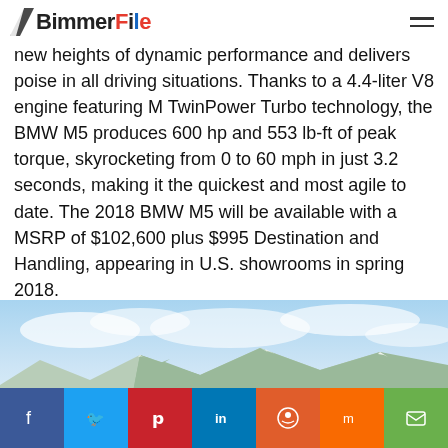BimmerFile
new heights of dynamic performance and delivers poise in all driving situations. Thanks to a 4.4-liter V8 engine featuring M TwinPower Turbo technology, the BMW M5 produces 600 hp and 553 lb-ft of peak torque, skyrocketing from 0 to 60 mph in just 3.2 seconds, making it the quickest and most agile to date. The 2018 BMW M5 will be available with a MSRP of $102,600 plus $995 Destination and Handling, appearing in U.S. showrooms in spring 2018.
[Figure (photo): Mountain landscape with blue sky and clouds, snowy mountain range in background]
Social share bar: Facebook, Twitter, Pinterest, LinkedIn, Reddit, Mix, Email